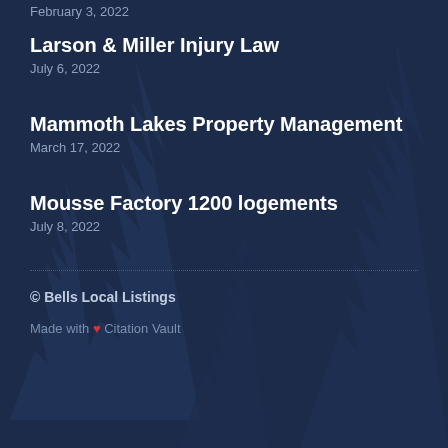February 3, 2022
Larson & Miller Injury Law
July 6, 2022
Mammoth Lakes Property Management
March 17, 2022
Mousse Factory 1200 logements
July 8, 2022
© Bells Local Listings
Made with ❤ Citation Vault